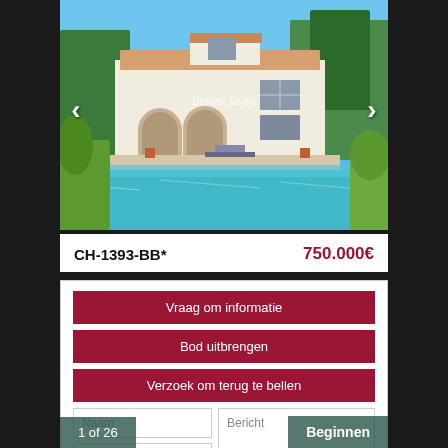[Figure (photo): Exterior photo of a white Spanish-style villa with arched portico, terracotta roof tiles, a blue swimming pool in the foreground, surrounded by Mediterranean vegetation. Watermark reads 'BemaxJavea'.]
1 of 26
Beginnen
CH-1393-BB*
750.000€
Vraag om informatie
Bod uitbrengen
Verzoek om terug te bellen
Naam
Bericht
Telefoonnummer